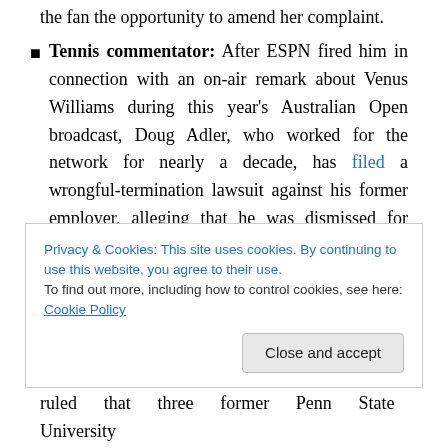the fan the opportunity to amend her complaint.
Tennis commentator: After ESPN fired him in connection with an on-air remark about Venus Williams during this year's Australian Open broadcast, Doug Adler, who worked for the network for nearly a decade, has filed a wrongful-termination lawsuit against his former employer, alleging that he was dismissed for saying something he never said. While some heard Adler use the word “gorilla” in reference to Williams, he maintains that he used the word “guerrilla” in
Privacy & Cookies: This site uses cookies. By continuing to use this website, you agree to their use.
To find out more, including how to control cookies, see here: Cookie Policy
ruled that three former Penn State University